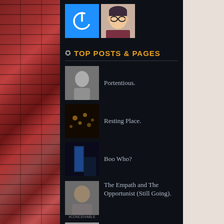[Figure (photo): Power button icon avatar (blue square with white power symbol) and illustrated person avatar side by side]
TOP POSTS & PAGES
Portentious.
Resting Place.
Boo Who?
The Empath and The Opportunist (Still Going).
Just Listen.
Flounder.